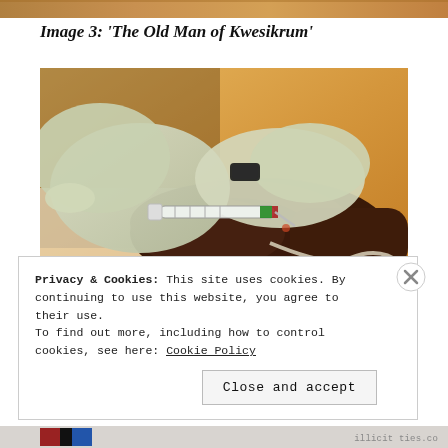[Figure (photo): Partial top strip showing background scene, cropped at page top]
Image 3: 'The Old Man of Kwesikrum'
[Figure (photo): Close-up photograph of gloved hands inserting an IV needle/cannula into the back of a patient's dark-skinned hand, with an IV line attached. Medical setting with warm sandy background.]
Privacy & Cookies: This site uses cookies. By continuing to use this website, you agree to their use.
To find out more, including how to control cookies, see here: Cookie Policy
[Figure (other): Close button (X) overlay on cookie banner]
Close and accept